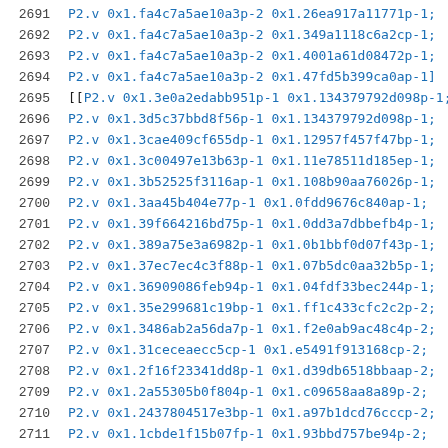Code listing lines 2691-2712 showing P2.v floating point hex values
2691   P2.v 0x1.fa4c7a5ae10a3p-2 0x1.26ea917a11771p-1;
2692   P2.v 0x1.fa4c7a5ae10a3p-2 0x1.349a1118c6a2cp-1;
2693   P2.v 0x1.fa4c7a5ae10a3p-2 0x1.4001a61d08472p-1;
2694   P2.v 0x1.fa4c7a5ae10a3p-2 0x1.47fd5b399ca0ap-1]
2695  [[P2.v 0x1.3e0a2edabb951p-1 0x1.134379792d098p-1;
2696   P2.v 0x1.3d5c37bbd8f56p-1 0x1.134379792d098p-1;
2697   P2.v 0x1.3cae409cf655dp-1 0x1.12957f457f47bp-1;
2698   P2.v 0x1.3c00497e13b63p-1 0x1.11e78511d185ep-1;
2699   P2.v 0x1.3b52525f3116ap-1 0x1.108b90aa76026p-1;
2700   P2.v 0x1.3aa45b404e77p-1 0x1.0fdd9676c840ap-1;
2701   P2.v 0x1.39f664216bd75p-1 0x1.0dd3a7dbbefb4p-1;
2702   P2.v 0x1.389a75e3a6982p-1 0x1.0b1bbf0d07f43p-1;
2703   P2.v 0x1.37ec7ec4c3f88p-1 0x1.07b5dc0aa32b5p-1;
2704   P2.v 0x1.36909086feb94p-1 0x1.04fdf33bec244p-1;
2705   P2.v 0x1.35e299681c19bp-1 0x1.ff1c433cfc2c2p-2;
2706   P2.v 0x1.3486ab2a56da7p-1 0x1.f2e0ab9ac48c4p-2;
2707   P2.v 0x1.31ceceaecc5cp-1 0x1.e5491f913168cp-2;
2708   P2.v 0x1.2f16f23341dd8p-1 0x1.d39db6518bbaap-2;
2709   P2.v 0x1.2a55305b0f804p-1 0x1.c09658aa8a89p-2;
2710   P2.v 0x1.2437804517e3bp-1 0x1.a97b1dcd76cccp-2;
2711   P2.v 0x1.1cbde1f15b07fp-1 0x1.93bbd757be94p-2;
2712   P2.v 0x1.1544439d9e2c3p-1 0x1.7dfc90e2065b6p-2;